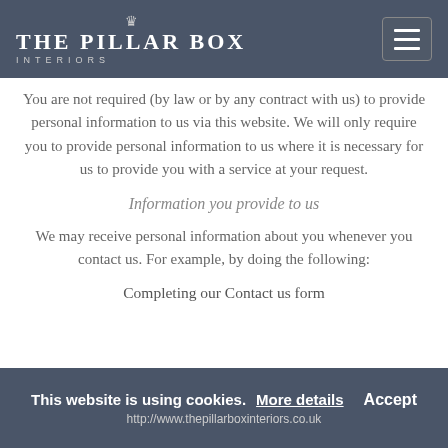THE PILLAR BOX INTERIORS
You are not required (by law or by any contract with us) to provide personal information to us via this website. We will only require you to provide personal information to us where it is necessary for us to provide you with a service at your request.
Information you provide to us
We may receive personal information about you whenever you contact us. For example, by doing the following:
Completing our Contact us form
This website is using cookies. More details Accept http://www.thepillarboxinteriors.co.uk